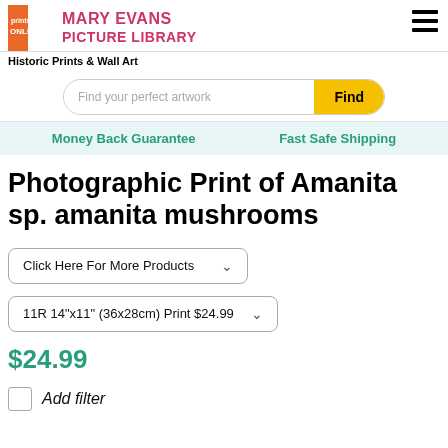[Figure (logo): Prints Online and Mary Evans Picture Library logo in header]
Historic Prints & Wall Art
[Figure (screenshot): Search bar with placeholder 'Find your perfect artwork' and yellow 'Find' button]
Money Back Guarantee    Fast Safe Shipping
Photographic Print of Amanita sp. amanita mushrooms
Click Here For More Products
11R 14"x11" (36x28cm) Print $24.99
$24.99
Add filter